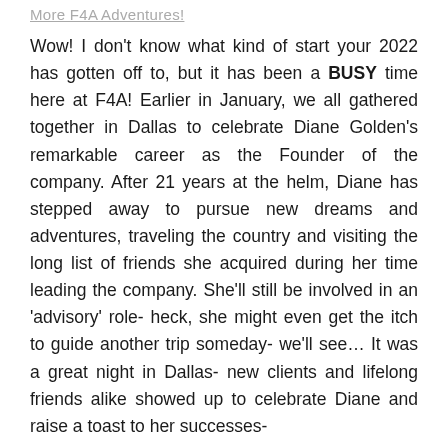More F4A Adventures!
Wow! I don't know what kind of start your 2022 has gotten off to, but it has been a BUSY time here at F4A! Earlier in January, we all gathered together in Dallas to celebrate Diane Golden's remarkable career as the Founder of the company. After 21 years at the helm, Diane has stepped away to pursue new dreams and adventures, traveling the country and visiting the long list of friends she acquired during her time leading the company. She'll still be involved in an 'advisory' role- heck, she might even get the itch to guide another trip someday- we'll see… It was a great night in Dallas- new clients and lifelong friends alike showed up to celebrate Diane and raise a toast to her successes-